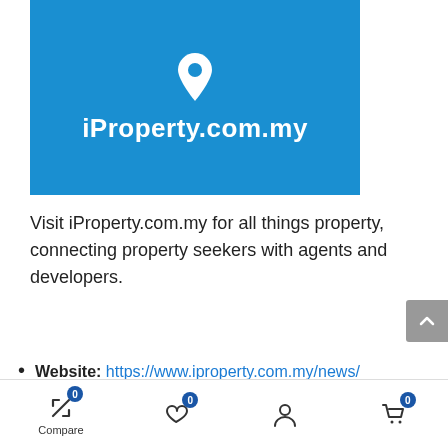[Figure (logo): iProperty.com.my logo on blue background with white location pin icon and white text]
Visit iProperty.com.my for all things property, connecting property seekers with agents and developers.
Website: https://www.iproperty.com.my/news/
Monthly visits: 3,400,000